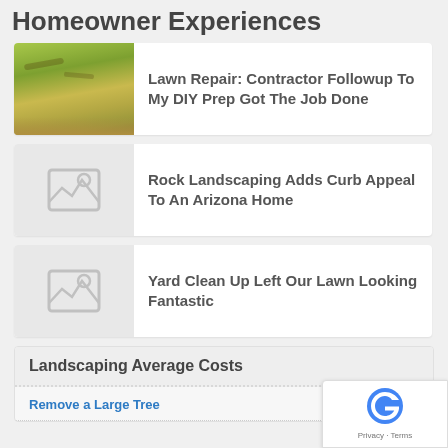Homeowner Experiences
Lawn Repair: Contractor Followup To My DIY Prep Got The Job Done
[Figure (photo): Photo of a lawn with grass and dirt patches]
Rock Landscaping Adds Curb Appeal To An Arizona Home
[Figure (photo): Placeholder image thumbnail]
Yard Clean Up Left Our Lawn Looking Fantastic
[Figure (photo): Placeholder image thumbnail]
Landscaping Average Costs
Remove a Large Tree   $400 - $...